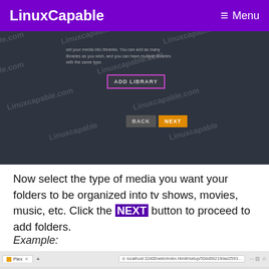LinuxCapable   Menu
[Figure (screenshot): Dark themed application screenshot showing ADD LIBRARY button with pink/purple border, and BACK and NEXT navigation buttons. Watermarked with Linuxcapable.com text.]
Now select the type of media you want your folders to be organized into tv shows, movies, music, etc. Click the NEXT button to proceed to add folders.
Example:
[Figure (screenshot): Browser screenshot showing Plex media server setup page at localhost:32400/web/index.html with browser chrome visible.]